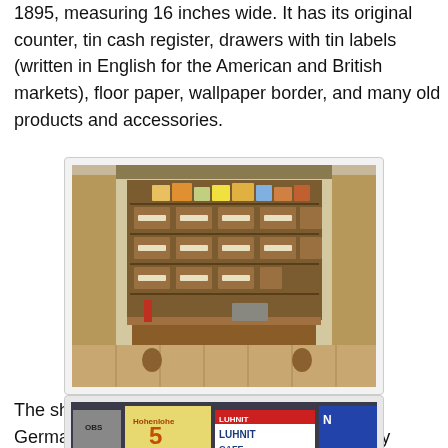1895, measuring 16 inches wide. It has its original counter, tin cash register, drawers with tin labels (written in English for the American and British markets), floor paper, wallpaper border, and many old products and accessories.
[Figure (photo): Antique miniature general store with wooden drawers, shelves stocked with small product boxes, wallpaper border, and various shop accessories.]
The shop came with an assortment of antique German-made cakes and pies, including a very appropriate Christmas pudding trimmed with holly:
[Figure (photo): Close-up of antique German-made miniature food items including a Hohenlohe 5 Flocken box, a LUHNIT CAFE box, and other vintage product boxes.]